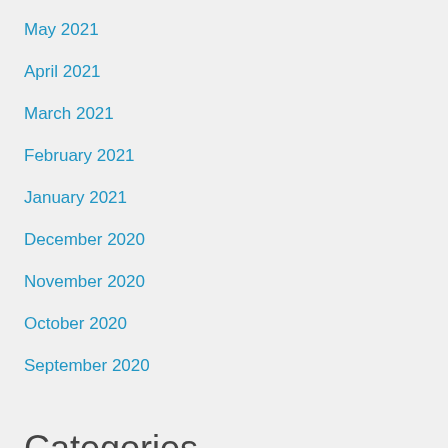May 2021
April 2021
March 2021
February 2021
January 2021
December 2020
November 2020
October 2020
September 2020
Categories
download
insurance